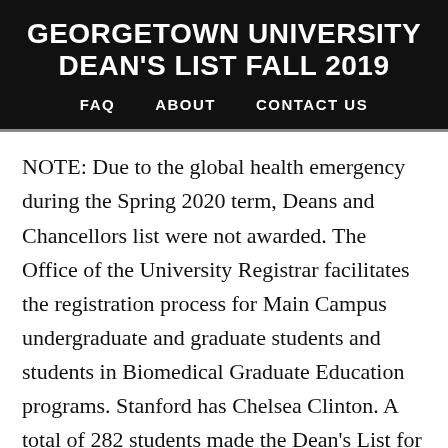GEORGETOWN UNIVERSITY DEAN'S LIST FALL 2019
FAQ   ABOUT   CONTACT US
NOTE: Due to the global health emergency during the Spring 2020 term, Deans and Chancellors list were not awarded. The Office of the University Registrar facilitates the registration process for Main Campus undergraduate and graduate students and students in Biomedical Graduate Education programs. Stanford has Chelsea Clinton. A total of 282 students made the Dean's List for fall 2019. Story Links. Based on federal and state guidance, we have made the determination that it will be necessary to postpone...